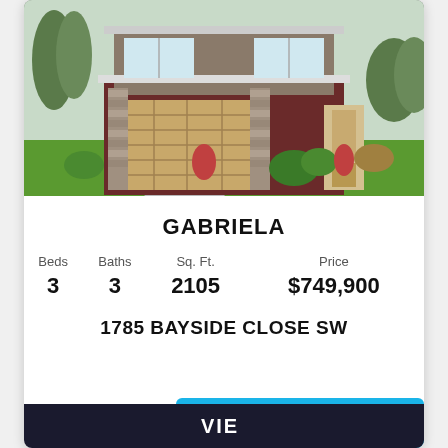[Figure (photo): Exterior rendering of a two-story modern home with dark brick, tan garage door, stone accents, and landscaped front yard]
GABRIELA
| Beds | Baths | Sq. Ft. | Price |
| --- | --- | --- | --- |
| 3 | 3 | 2105 | $749,900 |
1785 BAYSIDE CLOSE SW
VIEW
Leave a message